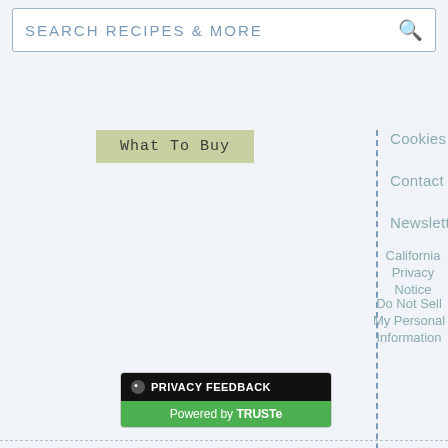SEARCH RECIPES & MORE
What To Buy
Cookies
Contact
Newsletter
California Privacy Notice
Do Not Sell My Personal Information
[Figure (logo): Privacy Feedback badge powered by TRUSTe]
[Figure (logo): Dotdash Meredith logo]
The Spruce Eats is part of the Dotdash Meredith publishing family.
[Figure (screenshot): Dotdash Meredith ad banner: We help people find answers, solve problems and get inspired.]